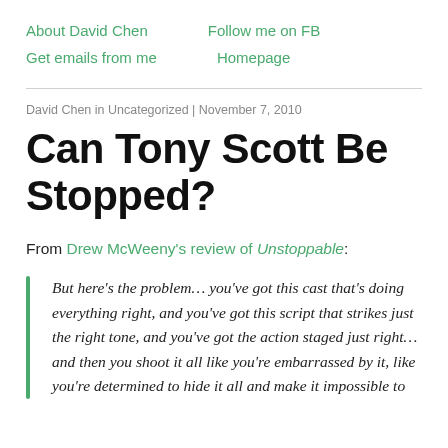About David Chen    Follow me on FB
Get emails from me    Homepage
David Chen in Uncategorized | November 7, 2010
Can Tony Scott Be Stopped?
From Drew McWeeny's review of Unstoppable:
But here's the problem… you've got this cast that's doing everything right, and you've got this script that strikes just the right tone, and you've got the action staged just right… and then you shoot it all like you're embarrassed by it, like you're determined to hide it all and make it impossible to